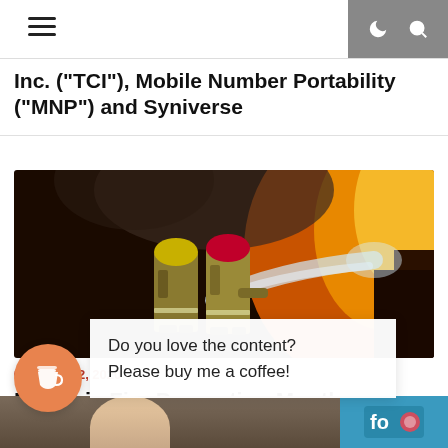Navigation bar with hamburger menu and dark mode / search icons
Inc. ("TCI"), Mobile Number Portability ("MNP") and Syniverse
[Figure (photo): Two firefighters in full gear spraying a high-pressure water hose at a large fire with orange flames and smoke in the background.]
March 2, 2020
March is Fire Prevention Month
Do you love the content? Please buy me a coffee!
[Figure (photo): Partial bottom strip showing a person and a store logo on the right side.]